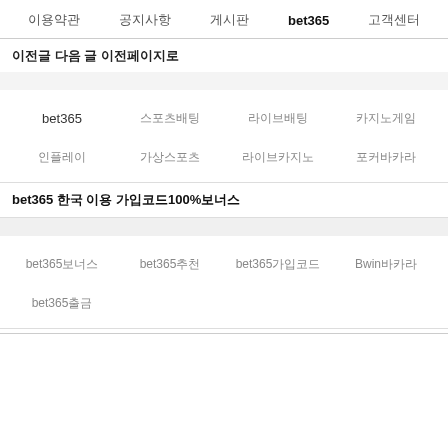이용약관  공지사항  게시판  bet365  고객센터
이전글 다음 글 이전페이지로
bet365
스포츠배팅
라이브배팅
카지노게임
인플레이
가상스포츠
라이브카지노
포커바카라
bet365 한국 이용 가입코드100%보너스
bet365보너스
bet365추천
bet365가입코드
Bwin바카라
bet365출금